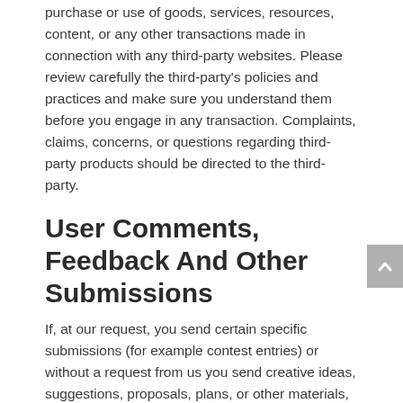purchase or use of goods, services, resources, content, or any other transactions made in connection with any third-party websites. Please review carefully the third-party's policies and practices and make sure you understand them before you engage in any transaction. Complaints, claims, concerns, or questions regarding third-party products should be directed to the third-party.
User Comments, Feedback And Other Submissions
If, at our request, you send certain specific submissions (for example contest entries) or without a request from us you send creative ideas, suggestions, proposals, plans, or other materials, whether online, by email, by postal mail, or otherwise (collectively, 'comments'), you agree that we may, at any time, without restriction, edit, copy, publish, distribute, translate and otherwise use in any medium any comments that you forward to us. We are and shall be under no obligation (1) to maintain any